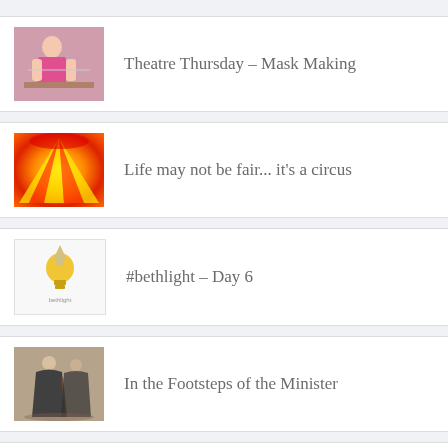Theatre Thursday – Mask Making
Life may not be fair... it's a circus
#bethlight – Day 6
In the Footsteps of the Minister
Counting Down Summer at Our House